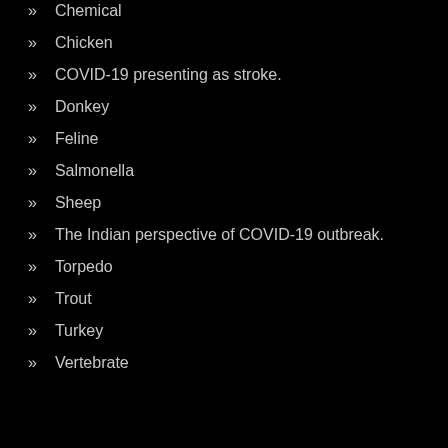Chemical
Chicken
COVID-19 presenting as stroke.
Donkey
Feline
Salmonella
Sheep
The Indian perspective of COVID-19 outbreak.
Torpedo
Trout
Turkey
Vertebrate